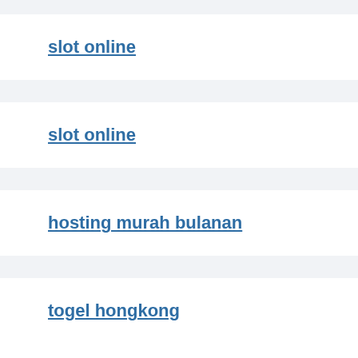slot online
slot online
hosting murah bulanan
togel hongkong